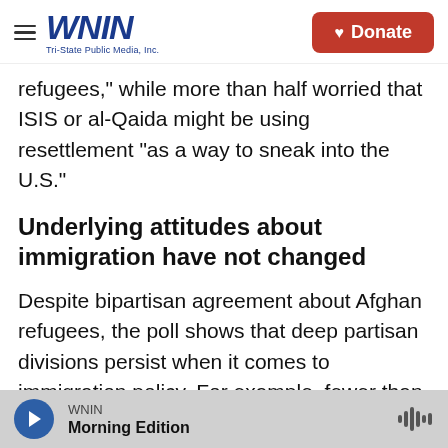WNIN Tri-State Public Media, Inc. | Donate
refugees," while more than half worried that ISIS or al-Qaida might be using resettlement "as a way to sneak into the U.S."
Underlying attitudes about immigration have not changed
Despite bipartisan agreement about Afghan refugees, the poll shows that deep partisan divisions persist when it comes to immigration policy. For example, fewer than half of Republicans support admitting migrants from Africa, Syria and Libya, or Central America, compared with more
WNIN | Morning Edition